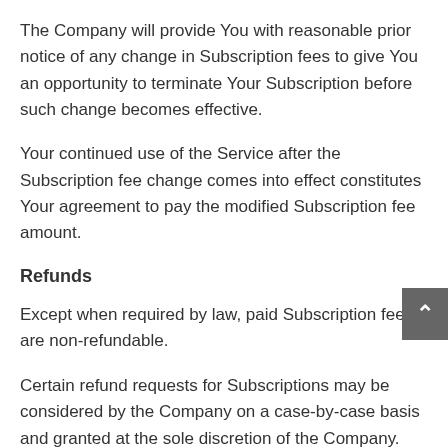The Company will provide You with reasonable prior notice of any change in Subscription fees to give You an opportunity to terminate Your Subscription before such change becomes effective.
Your continued use of the Service after the Subscription fee change comes into effect constitutes Your agreement to pay the modified Subscription fee amount.
Refunds
Except when required by law, paid Subscription fees are non-refundable.
Certain refund requests for Subscriptions may be considered by the Company on a case-by-case basis and granted at the sole discretion of the Company.
Promotions